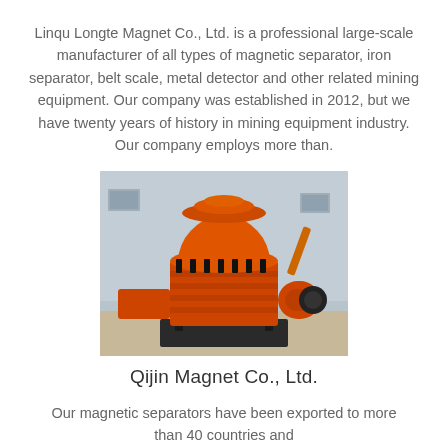Linqu Longte Magnet Co., Ltd. is a professional large-scale manufacturer of all types of magnetic separator, iron separator, belt scale, metal detector and other related mining equipment. Our company was established in 2012, but we have twenty years of history in mining equipment industry. Our company employs more than.
[Figure (photo): Large orange industrial mining/crushing machine (cone crusher) parked outdoors in front of a grey building]
Qijin Magnet Co., Ltd.
Our magnetic separators have been exported to more than 40 countries and